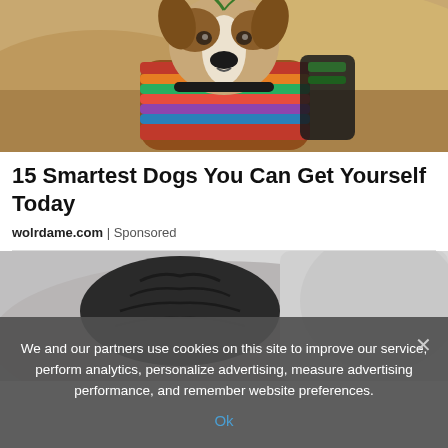[Figure (photo): A dog wearing a colorful striped blanket/saddle with a backpack in a desert sand dune setting, facing the camera.]
15 Smartest Dogs You Can Get Yourself Today
wolrdame.com | Sponsored
[Figure (photo): Partial view of a person with dark braided hair and a gray shirt, visible from behind/side.]
We and our partners use cookies on this site to improve our service, perform analytics, personalize advertising, measure advertising performance, and remember website preferences.
Ok